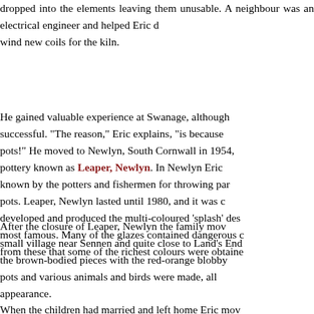dropped into the elements leaving them unusable. A neighbour was an electrical engineer and helped Eric design and wind new coils for the kiln.
He gained valuable experience at Swanage, although it was not successful. "The reason," Eric explains, "is because I only made pots!" He moved to Newlyn, South Cornwall in 1954, setting up a pottery known as Leaper, Newlyn. In Newlyn Eric became well known by the potters and fishermen for throwing particularly large pots. Leaper, Newlyn lasted until 1980, and it was during this time he developed and produced the multi-coloured 'splash' designs for which he is most famous. Many of the glazes contained dangerous chemicals, and it was from these that some of the richest colours were obtained.
After the closure of Leaper, Newlyn the family moved to Tregeseal, a small village near Sennen and quite close to Land's End. Here he produced the brown-bodied pieces with the red-orange blobby decoration. More pots and various animals and birds were made, all with a very rustic appearance.
When the children had married and left home Eric mov